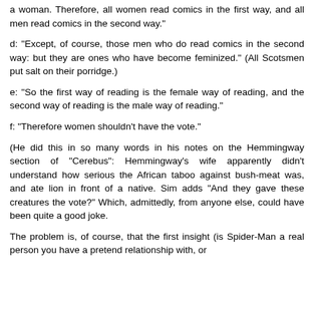a woman. Therefore, all women read comics in the first way, and all men read comics in the second way."
d: "Except, of course, those men who do read comics in the second way: but they are ones who have become feminized." (All Scotsmen put salt on their porridge.)
e: "So the first way of reading is the female way of reading, and the second way of reading is the male way of reading."
f: "Therefore women shouldn't have the vote."
(He did this in so many words in his notes on the Hemmingway section of "Cerebus": Hemmingway's wife apparently didn't understand how serious the African taboo against bush-meat was, and ate lion in front of a native. Sim adds "And they gave these creatures the vote?" Which, admittedly, from anyone else, could have been quite a good joke.
The problem is, of course, that the first insight (is Spider-Man a real person you have a pretend relationship with, or